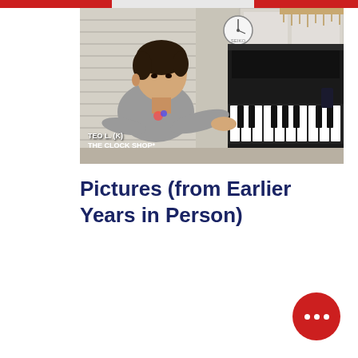[Figure (photo): A young boy playing piano, wearing a grey sweatshirt, reaching forward to play piano keys. A clock is visible on the wall in the background. Text overlay reads TEO L. (K) THE CLOCK SHOP]
Pictures (from Earlier Years in Person)